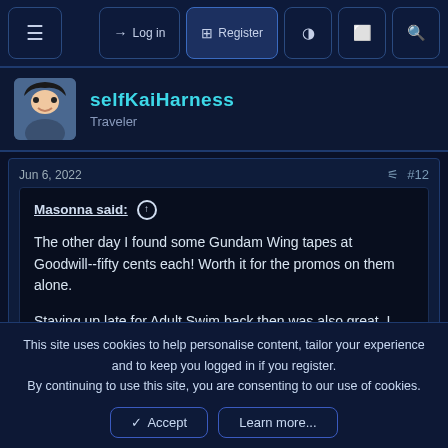Navigation bar with hamburger menu, Log in, Register, and icon buttons
selfKaiHarness
Traveler
Jun 6, 2022  #12
Masonna said:
The other day I found some Gundam Wing tapes at Goodwill--fifty cents each! Worth it for the promos on them alone.

Staying up late for Adult Swim back then was also great. I think my favorite show of that time is Mission Hill, but even watching Futurama or old Family Guy felt very special to me
This site uses cookies to help personalise content, tailor your experience and to keep you logged in if you register.
By continuing to use this site, you are consenting to our use of cookies.